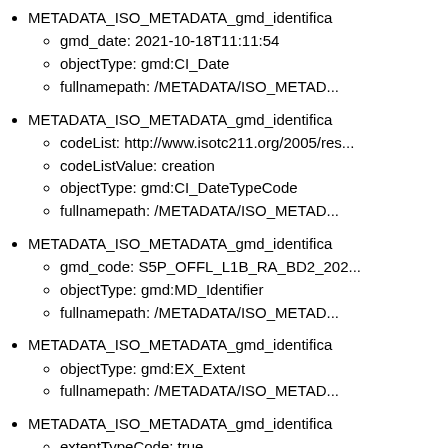METADATA_ISO_METADATA_gmd_identifica...
gmd_date: 2021-10-18T11:11:54
objectType: gmd:CI_Date
fullnamepath: /METADATA/ISO_METAD...
METADATA_ISO_METADATA_gmd_identifica...
codeList: http://www.isotc211.org/2005/res...
codeListValue: creation
objectType: gmd:CI_DateTypeCode
fullnamepath: /METADATA/ISO_METAD...
METADATA_ISO_METADATA_gmd_identifica...
gmd_code: S5P_OFFL_L1B_RA_BD2_202...
objectType: gmd:MD_Identifier
fullnamepath: /METADATA/ISO_METAD...
METADATA_ISO_METADATA_gmd_identifica...
objectType: gmd:EX_Extent
fullnamepath: /METADATA/ISO_METAD...
METADATA_ISO_METADATA_gmd_identifica...
extentTypeCode: true
gmd_eastBoundLongitude: 179.99965
gmd_northBoundLatitude: 89.96435
gmd_southBoundLatitude: -89.98216